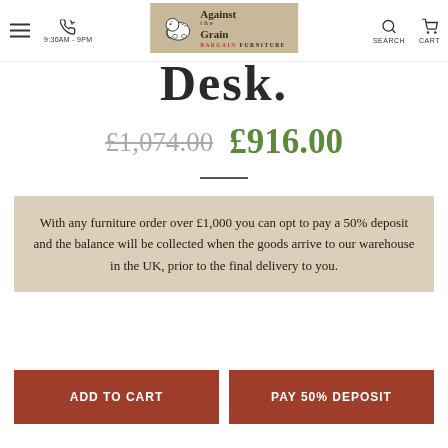Against the Grain Bargain Furniture — 9:30AM - 9PM
Desk.
£1,074.00 £916.00
With any furniture order over £1,000 you can opt to pay a 50% deposit and the balance will be collected when the goods arrive to our warehouse in the UK, prior to the final delivery to you.
ADD TO CART
PAY 50% DEPOSIT